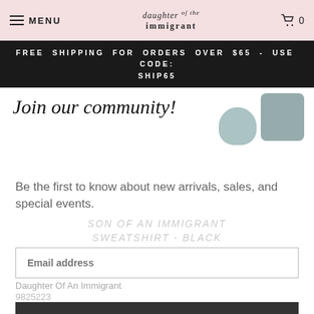MENU | daughter of immigrant | 0
FREE SHIPPING FOR ORDERS OVER $65 - USE CODE: SHIP65
[Figure (illustration): Handwritten text 'Join our community!' with two product images (hat and sweatshirt) on pink/white background]
Be the first to know about new arrivals, sales, and special events.
SON OF AN IMMIGRANT SWEATSHIRT - BLACK
Email address
Daughter Of An Immigrant
9825223
Subscribe
$38.00
OR 4 INTEREST-FREE PAYMENTS OF $9.50 WITH 🌐 sezzle
Show your pride in our Son of an Immigrant